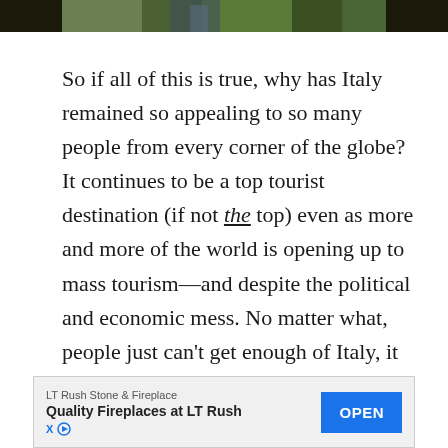[Figure (photo): Partial view of a photo strip showing green foliage/garden scene at the top of the page]
So if all of this is true, why has Italy remained so appealing to so many people from every corner of the globe?  It continues to be a top tourist destination (if not the top) even as more and more of the world is opening up to mass tourism—and despite the political and economic mess.  No matter what, people just can't get enough of Italy, it seems. (For the record, neither can I).

I believe it's because Italy offers, and has always offered, an abundance of the things that touch our humanity at the deepest levels: art, food, music,
[Figure (other): Advertisement banner: LT Rush Stone & Fireplace — Quality Fireplaces at LT Rush — OPEN button]